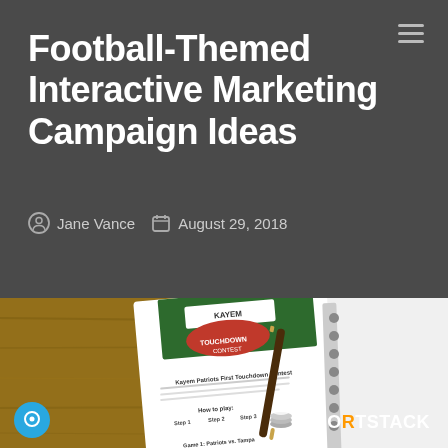Football-Themed Interactive Marketing Campaign Ideas
Jane Vance  August 29, 2018
[Figure (photo): A photo of a spiral-bound notebook on a wooden desk with a pen, showing a printed Kayem Patriots First Touchdown Contest promotional flyer. The flyer has a football field image with 'KAYEM TOUCHDOWN CONTEST' branding and instructions on how to play. A ShortStack logo is visible in the bottom right corner of the image.]